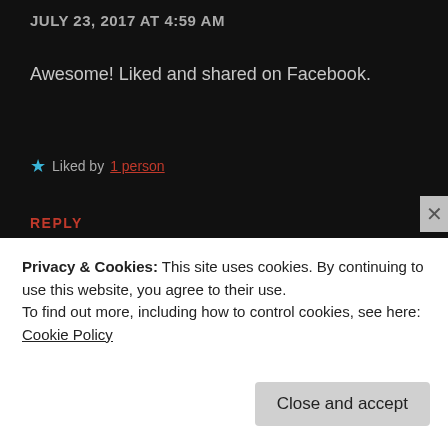JULY 23, 2017 AT 4:59 AM
Awesome! Liked and shared on Facebook.
★ Liked by 1 person
REPLY
[Figure (illustration): Circular avatar with purple and white diamond/checkerboard pattern]
Taylor Jordan
JULY 23, 2017 AT 5:20 AM
Privacy & Cookies: This site uses cookies. By continuing to use this website, you agree to their use. To find out more, including how to control cookies, see here: Cookie Policy
Close and accept